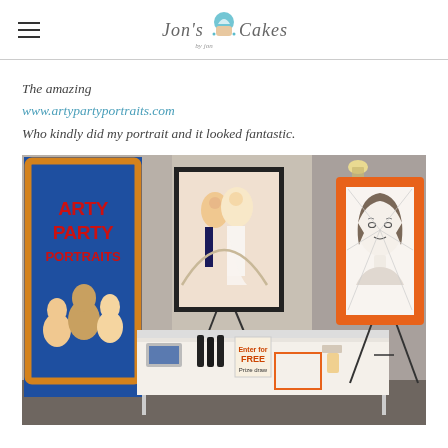Jon's Cakes
The amazing
www.artypartyportraits.com
Who kindly did my portrait and it looked fantastic.
[Figure (photo): Photo of Arty Party Portraits booth display. On the left is a tall blue banner with orange decorative frame reading 'ARTY PARTY PORTRAITS' with cartoon caricatures below. In the center is an easel displaying a wedding caricature in a black frame, and in front is a white-clothed table with products and signs. On the right is an orange-framed portrait of a woman drawn in pencil/ink, mounted on an easel.]